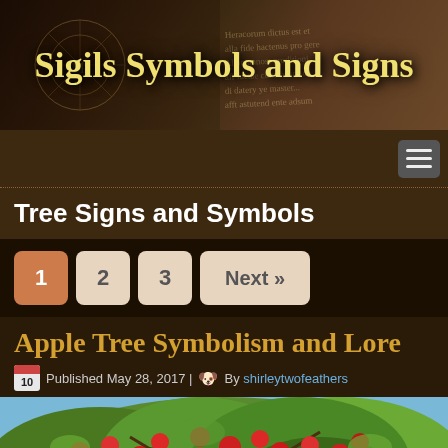[Figure (photo): Website header banner for 'Sigils Symbols and Signs' blog with dark brown background showing an old manuscript and mystical diagram]
Sigils Symbols and Signs
[Figure (screenshot): Navigation bar with hamburger menu icon on dark brown background]
Tree Signs and Symbols
1
2
3
Next »
Apple Tree Symbolism and Lore
Published May 28, 2017 | By shirleytwofeathers
[Figure (photo): Photo of an apple tree with many red apples and green leaves]